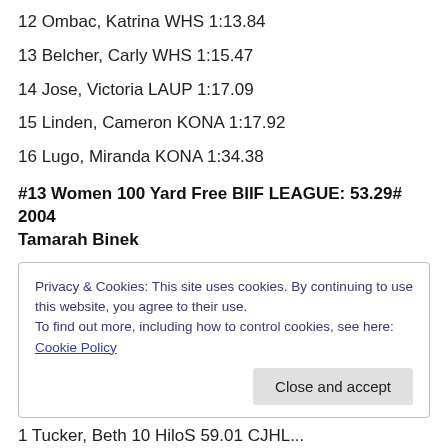12 Ombac, Katrina WHS 1:13.84
13 Belcher, Carly WHS 1:15.47
14 Jose, Victoria LAUP 1:17.09
15 Linden, Cameron KONA 1:17.92
16 Lugo, Miranda KONA 1:34.38
#13 Women 100 Yard Free BIIF LEAGUE: 53.29# 2004 Tamarah Binek
Privacy & Cookies: This site uses cookies. By continuing to use this website, you agree to their use.
To find out more, including how to control cookies, see here: Cookie Policy
1 Tucker, Beth 10 HiloS 59.01 CJHL...